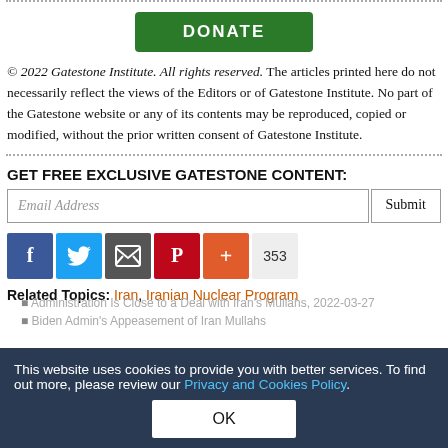[Figure (other): Green DONATE button]
© 2022 Gatestone Institute. All rights reserved. The articles printed here do not necessarily reflect the views of the Editors or of Gatestone Institute. No part of the Gatestone website or any of its contents may be reproduced, copied or modified, without the prior written consent of Gatestone Institute.
GET FREE EXCLUSIVE GATESTONE CONTENT:
Email Address [input] Submit [button]
[Figure (other): Social sharing icons: Facebook, Twitter, Email, Pinterest, Plus, share count 353]
Related Topics: Iran, Iranian Nuclear Program
This website uses cookies to provide you with better services. To find out more, please review our Privacy and Cookies Policy.
OK
Administration Is Close to a Deal with Iran's Mullahs, 2022-03-27
Biden Admin's Appeasement of Iran Mullahs